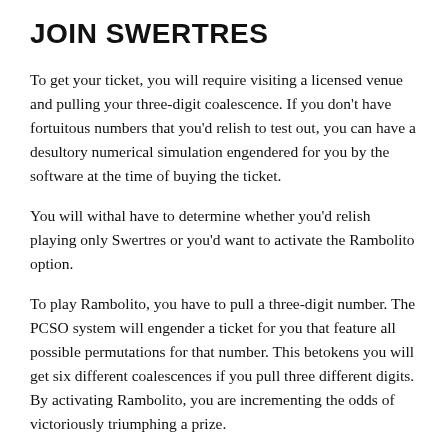JOIN SWERTRES
To get your ticket, you will require visiting a licensed venue and pulling your three-digit coalescence. If you don't have fortuitous numbers that you'd relish to test out, you can have a desultory numerical simulation engendered for you by the software at the time of buying the ticket.
You will withal have to determine whether you'd relish playing only Swertres or you'd want to activate the Rambolito option.
To play Rambolito, you have to pull a three-digit number. The PCSO system will engender a ticket for you that feature all possible permutations for that number. This betokens you will get six different coalescences if you pull three different digits. By activating Rambolito, you are incrementing the odds of victoriously triumphing a prize.